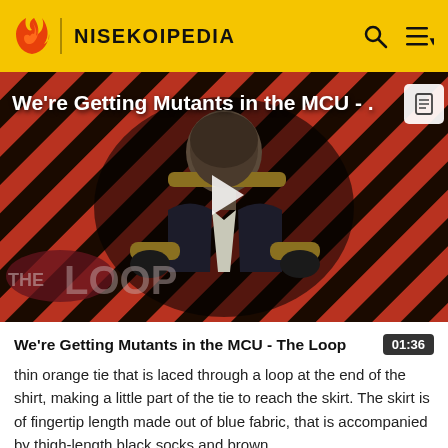NISEKOIPEDIA
[Figure (screenshot): Video thumbnail showing a bald man in a suit sitting in a chair, with 'THE LOOP' watermark overlay and diagonal striped red/black background. Title overlay reads 'We're Getting Mutants in the MCU -.' with a play button in the center.]
We're Getting Mutants in the MCU - The Loop
thin orange tie that is laced through a loop at the end of the shirt, making a little part of the tie to reach the skirt. The skirt is of fingertip length made out of blue fabric, that is accompanied by thigh-length black socks and brown